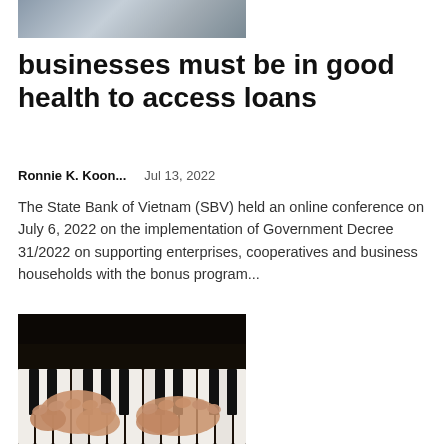[Figure (photo): Partial photo of people at what appears to be a market or conference setting, cropped at top]
businesses must be in good health to access loans
Ronnie K. Koon...    Jul 13, 2022
The State Bank of Vietnam (SBV) held an online conference on July 6, 2022 on the implementation of Government Decree 31/2022 on supporting enterprises, cooperatives and business households with the bonus program...
[Figure (photo): Hands playing piano keys, close-up photo in dark lighting]